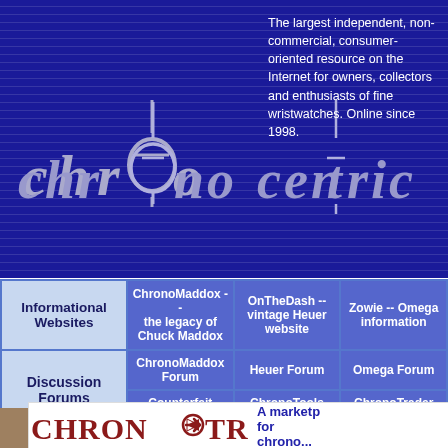[Figure (logo): Chronocentric logo — stylized text on dark blue striped background]
The largest independent, non-commercial, consumer-oriented resource on the Internet for owners, collectors and enthusiasts of fine wristwatches. Online since 1998.
| Informational Websites | ChronoMaddox -- the legacy of Chuck Maddox | OnTheDash -- vintage Heuer website | Zowie -- Omega information |
| --- | --- | --- | --- |
| Discussion Forums | ChronoMaddox Forum | Heuer Forum | Omega Forum |
|  | Counterfeit Watchers | ChronoTools Forum | ChronoTrader Forum |
[Figure (logo): ChronoTrader logo in dark red serif text with arrow graphic]
A marketplace for chronog...